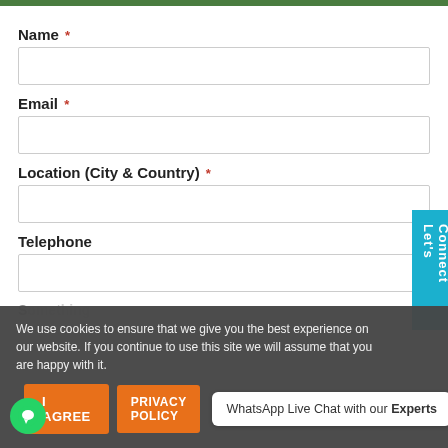Name *
Email *
Location (City & Country) *
Telephone
We use cookies to ensure that we give you the best experience on our website. If you continue to use this site we will assume that you are happy with it.
I AGREE
PRIVACY POLICY
WhatsApp Live Chat with our Experts
Let's Connect